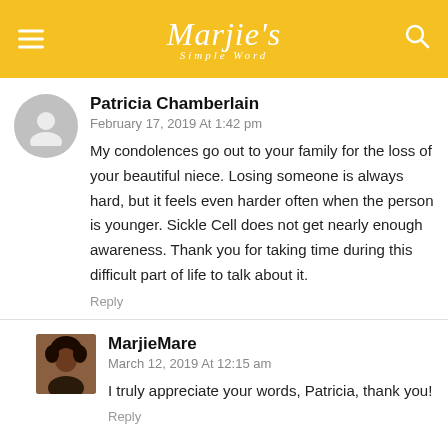Marjie's Simple Word
Patricia Chamberlain
February 17, 2019 At 1:42 pm
My condolences go out to your family for the loss of your beautiful niece. Losing someone is always hard, but it feels even harder often when the person is younger. Sickle Cell does not get nearly enough awareness. Thank you for taking time during this difficult part of life to talk about it.
Reply
MarjieMare
March 12, 2019 At 12:15 am
I truly appreciate your words, Patricia, thank you!
Reply